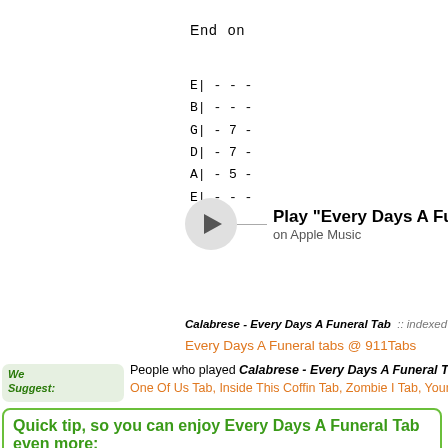End on
E| - - -
B| - - -
G| - 7 -
D| - 7 -
A| - 5 -
E| - - -
[Figure (other): Play button circle with line and text 'Play "Every Days A Fune...' on Apple Music]
Calabrese - Every Days A Funeral Tab :: indexed at Ultim...
Every Days A Funeral tabs @ 911Tabs
People who played Calabrese - Every Days A Funeral Tab also p...
One Of Us Tab, Inside This Coffin Tab, Zombie I Tab, Your Ghos...
Quick tip, so you can enjoy Every Days A Funeral Tab even more:
YourChords.com Guitar Chords and Tabs Archive is currently indexing over 240'000 songs from 21'000+ different artists. And new chords just keep on coming in, so you will surely never run out of them.